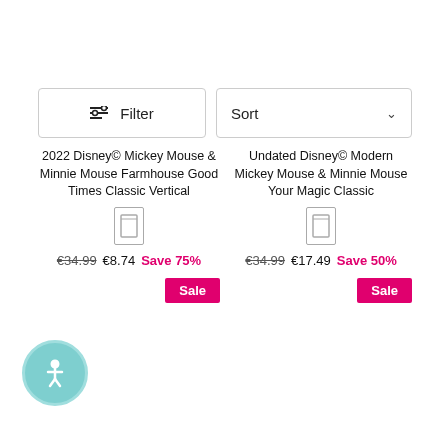Filter
Sort
2022 Disney© Mickey Mouse & Minnie Mouse Farmhouse Good Times Classic Vertical
€34.99  €8.74  Save 75%
Sale
Undated Disney© Modern Mickey Mouse & Minnie Mouse Your Magic Classic
€34.99  €17.49  Save 50%
Sale